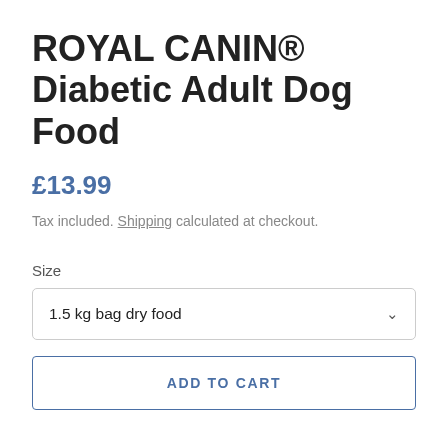ROYAL CANIN® Diabetic Adult Dog Food
£13.99
Tax included. Shipping calculated at checkout.
Size
1.5 kg bag dry food
ADD TO CART